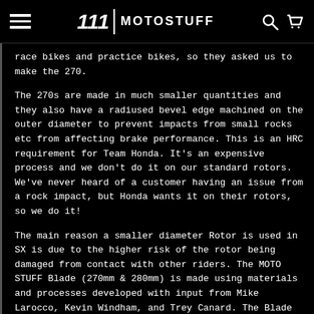MOTOSTUFF
race bikes and practice bikes, so they asked us to make the 270.
The 270s are made in much smaller quantities and they also have a radiused bevel edge machined on the outer diameter to prevent impacts from small rocks etc from affecting brake performance. This is an HRC requirement for Team Honda. It's an expensive process and we don't do it on our standard rotors. We've never heard of a customer having an issue from a rock impact, but Honda wants it on their rotors, so we do it!
The main reason a smaller diameter Rotor is used in SX is due to the higher risk of the rotor being damaged from contact with other riders. The MOTO STUFF Blade (270mm & 280mm) is made using materials and processes developed with input from Mike Larocco, Kevin Windham, and Trey Canard. The Blade system is not grabby like some oversize brakes, they are very linear